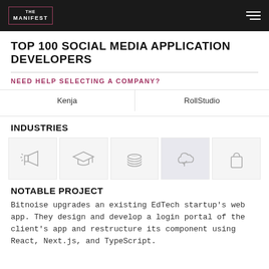THE MANIFEST
TOP 100 SOCIAL MEDIA APPLICATION DEVELOPERS
NEED HELP SELECTING A COMPANY?
| Kenja | RollStudio |
INDUSTRIES
[Figure (infographic): Five industry icons: megaphone/advertising, graduation cap/education, coins/finance, cloud with tree/tech or environment, shopping bag/retail]
NOTABLE PROJECT
Bitnoise upgrades an existing EdTech startup's web app. They design and develop a login portal of the client's app and restructure its component using React, Next.js, and TypeScript.